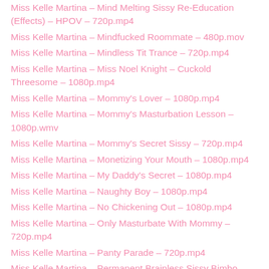Miss Kelle Martina – Mind Melting Sissy Re-Education (Effects) – HPOV – 720p.mp4
Miss Kelle Martina – Mindfucked Roommate – 480p.mov
Miss Kelle Martina – Mindless Tit Trance – 720p.mp4
Miss Kelle Martina – Miss Noel Knight – Cuckold Threesome – 1080p.mp4
Miss Kelle Martina – Mommy's Lover – 1080p.mp4
Miss Kelle Martina – Mommy's Masturbation Lesson – 1080p.wmv
Miss Kelle Martina – Mommy's Secret Sissy – 720p.mp4
Miss Kelle Martina – Monetizing Your Mouth – 1080p.mp4
Miss Kelle Martina – My Daddy's Secret – 1080p.mp4
Miss Kelle Martina – Naughty Boy – 1080p.mp4
Miss Kelle Martina – No Chickening Out – 1080p.mp4
Miss Kelle Martina – Only Masturbate With Mommy – 720p.mp4
Miss Kelle Martina – Panty Parade – 720p.mp4
Miss Kelle Martina – Permanent Brainless Sissy Bimbo Brainwashing – HPOV – 720p.mp4
Miss Kelle Martina – Poison Ivy's Prisoner – 1080p.mp4
Miss Kelle Martina – ...